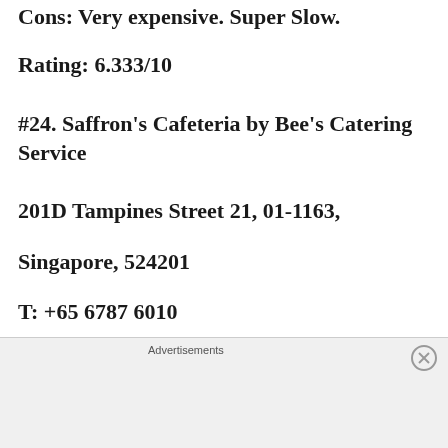Cons: Very expensive. Super Slow.
Rating: 6.333/10
#24. Saffron's Cafeteria by Bee's Catering Service
201D Tampines Street 21, 01-1163,
Singapore, 524201
T: +65 6787 6010